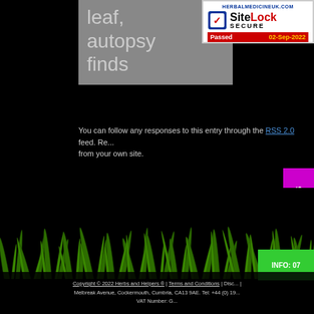leaf, autopsy finds
[Figure (logo): SiteLock SECURE badge from herbalmedicineuk.com, Passed 02-Sep-2022]
You can follow any responses to this entry through the RSS 2.0 feed. Re... from your own site.
[Figure (illustration): Green grass illustration at bottom of page]
Copyright © 2022 Herbs and Helpers ® | Terms and Conditions | Disc... | Melbreak Avenue, Cockermouth, Cumbria, CA13 9AE. Tel: +44 (0) 19... VAT Number: G...